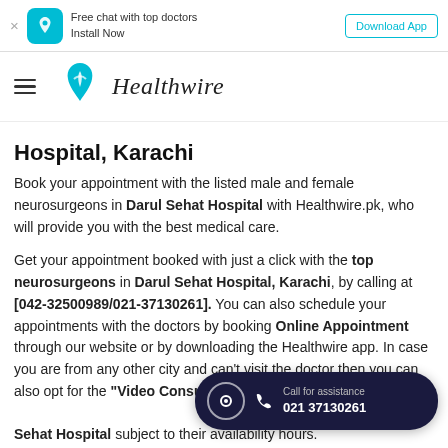Free chat with top doctors Install Now | Download App
[Figure (logo): Healthwire logo with teal heart/location pin icon and italic serif text 'Healthwire']
Hospital, Karachi
Book your appointment with the listed male and female neurosurgeons in Darul Sehat Hospital with Healthwire.pk, who will provide you with the best medical care.
Get your appointment booked with just a click with the top neurosurgeons in Darul Sehat Hospital, Karachi, by calling at [042-32500989/021-37130261]. You can also schedule your appointments with the doctors by booking Online Appointment through our website or by downloading the Healthwire app. In case you are from any other city and can't visit the doctor then you can also opt for the "Video Consultation" with the best doctors at Darul Sehat Hospital subject to their availability hours.